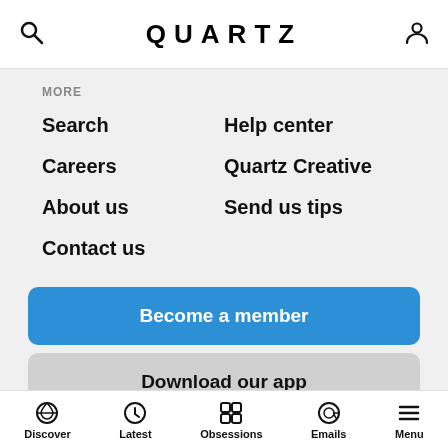QUARTZ
MORE
Search
Help center
Careers
Quartz Creative
About us
Send us tips
Contact us
Become a member
Download our app
Site map   Terms & conditions   Privacy policy   Do not sell my personal information   Notice at Collection
Discover   Latest   Obsessions   Emails   Menu